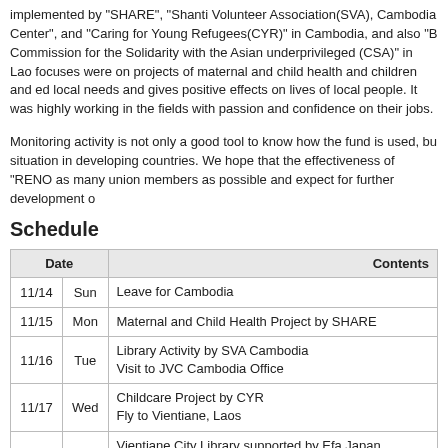implemented by "SHARE", "Shanti Volunteer Association(SVA), Cambodia Center", and "Caring for Young Refugees(CYR)" in Cambodia, and also "B Commission for the Solidarity with the Asian underprivileged (CSA)" in Lao focuses were on projects of maternal and child health and children and ed local needs and gives positive effects on lives of local people. It was highly working in the fields with passion and confidence on their jobs.
Monitoring activity is not only a good tool to know how the fund is used, bu situation in developing countries. We hope that the effectiveness of "RENO as many union members as possible and expect for further development o
Schedule
| Date |  | Contents |
| --- | --- | --- |
| 11/14 | Sun | Leave for Cambodia |
| 11/15 | Mon | Maternal and Child Health Project by SHARE |
| 11/16 | Tue | Library Activity by SVA Cambodia
Visit to JVC Cambodia Office |
| 11/17 | Wed | Childcare Project by CYR
Fly to Vientiane, Laos |
| 11/18 | Thu | Vientiane City Library supported by Efa Japan
Courtesy Visit to the Japanese Embassy in Vientian
Library Activity by SVA Laos |